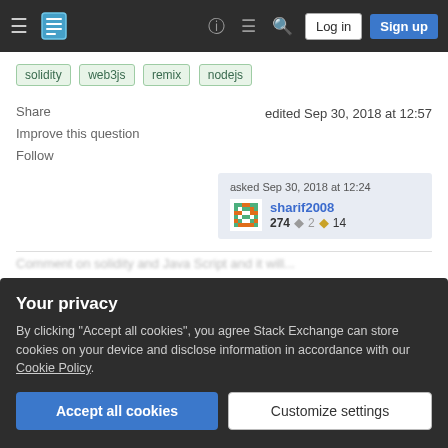Stack Exchange navigation bar with hamburger menu, logo, help, chat, search icons, Log in and Sign up buttons
solidity
web3js
remix
nodejs
Share
Improve this question
Follow
edited Sep 30, 2018 at 12:57
asked Sep 30, 2018 at 12:24
sharif2008
274 ◆ 2 ◆ 14
Your privacy
By clicking "Accept all cookies", you agree Stack Exchange can store cookies on your device and disclose information in accordance with our Cookie Policy.
Accept all cookies   Customize settings